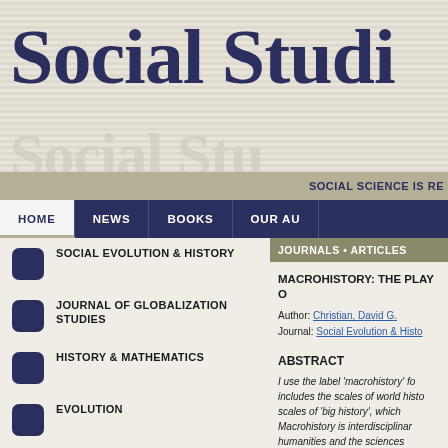Social Studi
SOCIAL SCIENCE IS RE
HOME   NEWS   BOOKS   OUR AU
SOCIAL EVOLUTION & HISTORY
JOURNAL OF GLOBALIZATION STUDIES
HISTORY & MATHEMATICS
EVOLUTION
KONDRATIEFF WAVES
JOURNALS • ARTICLES
MACROHISTORY: THE PLAY O
Author: Christian, David G.
Journal: Social Evolution & Histo
ABSTRACT
I use the label 'macrohistory' fo includes the scales of world histo scales of 'big history', which Macrohistory is interdisciplinar humanities and the sciences